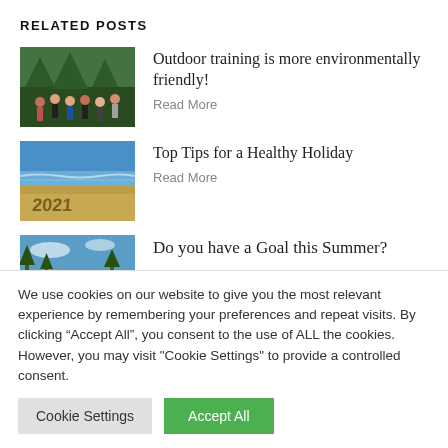RELATED POSTS
Outdoor training is more environmentally friendly!
Read More
[Figure (photo): Group of people outdoors exercising in a green wooded area]
Top Tips for a Healthy Holiday
Read More
[Figure (photo): Beach scene with ocean waves and sand with numbers written in it]
Do you have a Goal this Summer?
[Figure (photo): Outdoor summer scene with blue sky and green trees]
We use cookies on our website to give you the most relevant experience by remembering your preferences and repeat visits. By clicking “Accept All”, you consent to the use of ALL the cookies. However, you may visit "Cookie Settings" to provide a controlled consent.